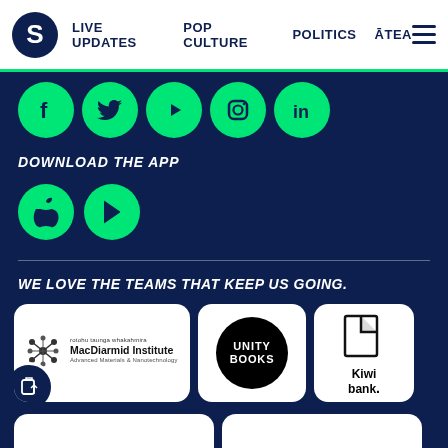S | LIVE UPDATES | POP CULTURE | POLITICS | ĀTEA
[Figure (illustration): Row of five green circular social media icons: Facebook, Twitter, YouTube, Instagram, LinkedIn on dark navy background]
DOWNLOAD THE APP
[Figure (illustration): Two green circular app store icons: Apple App Store and Google Play Store]
WE LOVE THE TEAMS THAT KEEP US GOING.
[Figure (logo): Three sponsor logos on white rounded cards: MacDiarmid Institute (Advanced Materials & Nanotechnology), Unity Books, Kiwibank]
[Figure (logo): Partial view of two more sponsor logo cards at bottom]